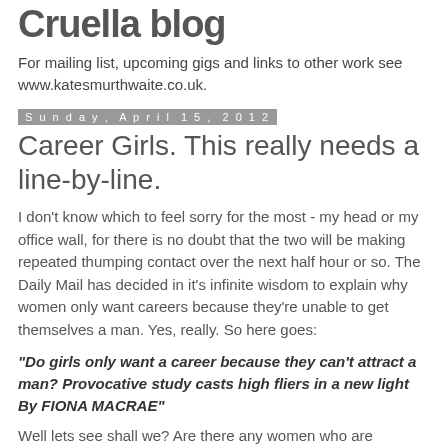Cruella blog
For mailing list, upcoming gigs and links to other work see www.katesmurthwaite.co.uk.
Sunday, April 15, 2012
Career Girls. This really needs a line-by-line.
I don't know which to feel sorry for the most - my head or my office wall, for there is no doubt that the two will be making repeated thumping contact over the next half hour or so. The Daily Mail has decided in it's infinite wisdom to explain why women only want careers because they're unable to get themselves a man. Yes, really. So here goes:
"Do girls only want a career because they can't attract a man? Provocative study casts high fliers in a new light By FIONA MACRAE"
Well lets see shall we? Are there any women who are ALREADY IN A RELATIONSHIP who still want careers? Yes